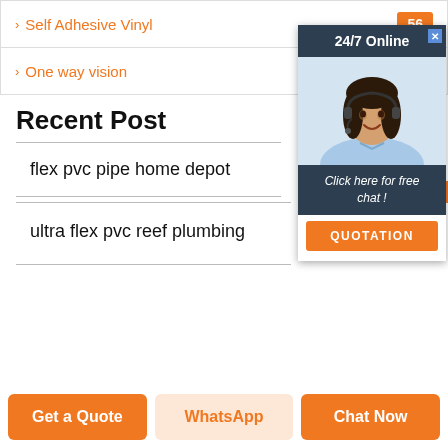Self Adhesive Vinyl  56
One way vision  68
Recent Post
flex pvc pipe home depot
ultra flex pvc reef plumbing
[Figure (photo): 24/7 Online chat popup with a smiling woman wearing a headset, dark header reading '24/7 Online', italic text 'Click here for free chat!', and an orange QUOTATION button]
Get a Quote  WhatsApp  Chat Now